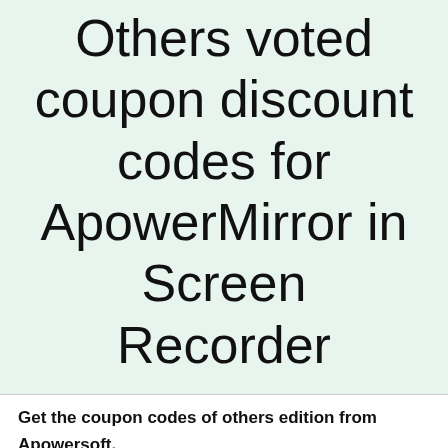Others voted coupon discount codes for ApowerMirror in Screen Recorder
Get the coupon codes of others edition from Apowersoft.
[75% OFF] ApowerMirror Coupon code 🔥
Submitted by Apowersoft Coupon